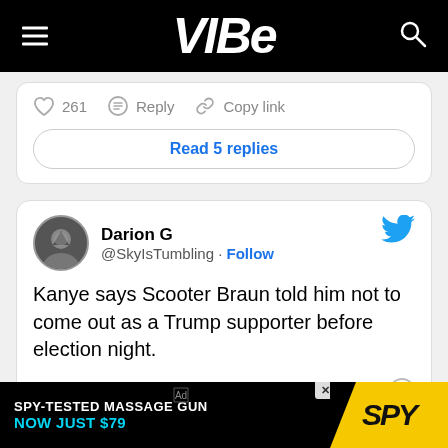VIBE
261  Reply  Copy link
Read 5 replies
Darion G @SkyIsTumbling · Follow
Kanye says Scooter Braun told him not to come out as a Trump supporter before election night.
7:31 AM · Nov 18, 2016
139  Reply  Copy link
[Figure (infographic): SPY-TESTED MASSAGE GUN NOW JUST $79 advertisement banner with SPY logo on yellow background]